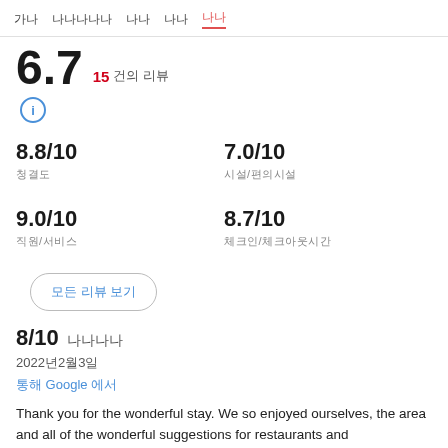가나 나나나나나 나나 나나 나나
6.7 / 10  15건의 리뷰  ℹ
8.8/10 청결도
7.0/10 시설/편의
9.0/10 직원/서비스
8.7/10 체크인/체크아웃
모든 리뷰 보기
8/10 나나나나
2022년2월3일
통해 Google 에서
Thank you for the wonderful stay. We so enjoyed ourselves, the area and all of the wonderful suggestions for restaurants and